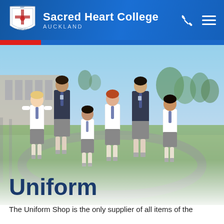Sacred Heart College AUCKLAND
[Figure (photo): Group of Sacred Heart College students in school uniform walking outdoors on school grounds, some in blazers and ties, others in shirts and shorts.]
Uniform
The Uniform Shop is the only supplier of all items of the